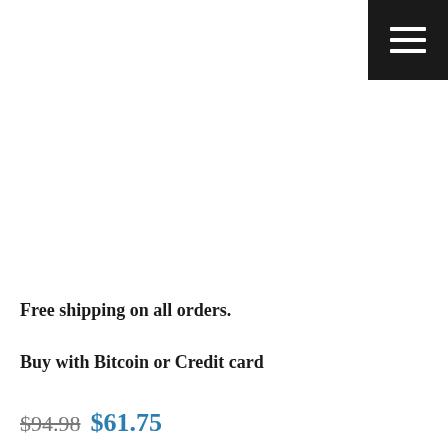[Figure (other): Hamburger menu icon (three horizontal white lines) on a dark/black square background, positioned in the top-right corner]
Free shipping on all orders.
Buy with Bitcoin or Credit card
$94.98  $61.75